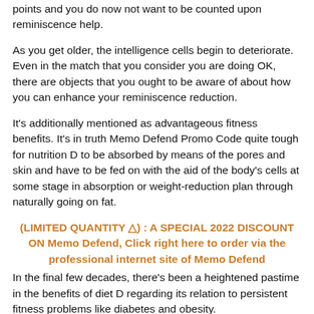points and you do now not want to be counted upon reminiscence help.
As you get older, the intelligence cells begin to deteriorate. Even in the match that you consider you are doing OK, there are objects that you ought to be aware of about how you can enhance your reminiscence reduction.
It's additionally mentioned as advantageous fitness benefits. It's in truth Memo Defend Promo Code quite tough for nutrition D to be absorbed by means of the pores and skin and have to be fed on with the aid of the body's cells at some stage in absorption or weight-reduction plan through naturally going on fat.
(LIMITED QUANTITY ⚠) : A SPECIAL 2022 DISCOUNT ON Memo Defend, Click right here to order via the professional internet site of Memo Defend
In the final few decades, there's been a heightened pastime in the benefits of diet D regarding its relation to persistent fitness problems like diabetes and obesity.